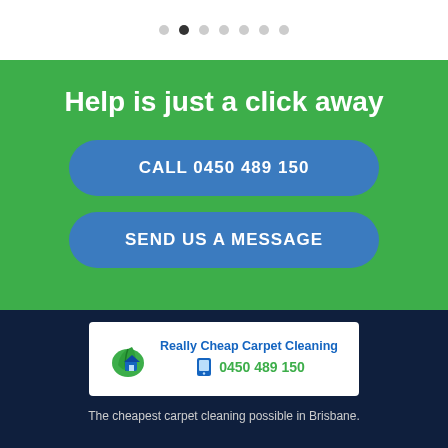[Figure (other): Pagination dots — 7 dots in a row, second dot is active/filled dark]
Help is just a click away
CALL 0450 489 150
SEND US A MESSAGE
[Figure (logo): Really Cheap Carpet Cleaning logo with green leaf/house icon, blue company name, telephone icon, and green phone number 0450 489 150]
The cheapest carpet cleaning possible in Brisbane.